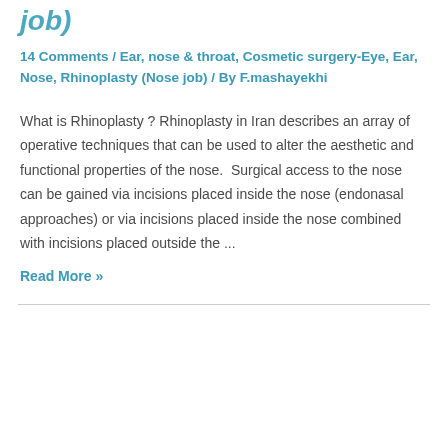job)
14 Comments / Ear, nose & throat, Cosmetic surgery-Eye, Ear, Nose, Rhinoplasty (Nose job) / By F.mashayekhi
What is Rhinoplasty ? Rhinoplasty in Iran describes an array of operative techniques that can be used to alter the aesthetic and functional properties of the nose.  Surgical access to the nose can be gained via incisions placed inside the nose (endonasal approaches) or via incisions placed inside the nose combined with incisions placed outside the ...
Read More »